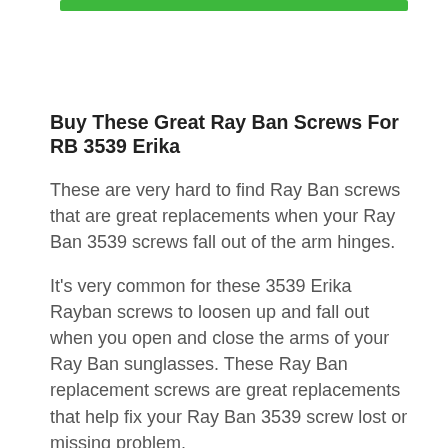Buy These Great Ray Ban Screws For RB 3539 Erika
These are very hard to find Ray Ban screws that are great replacements when your Ray Ban 3539 screws fall out of the arm hinges.
It's very common for these 3539 Erika Rayban screws to loosen up and fall out when you open and close the arms of your Ray Ban sunglasses. These Ray Ban replacement screws are great replacements that help fix your Ray Ban 3539 screw lost or missing problem.
These Ray Ban 3539 Erika screw replacements are meant for authentic Rayban RB 3539 and not knockoff Raybans or fake Ray Bans. The Rayban 3539 screw…